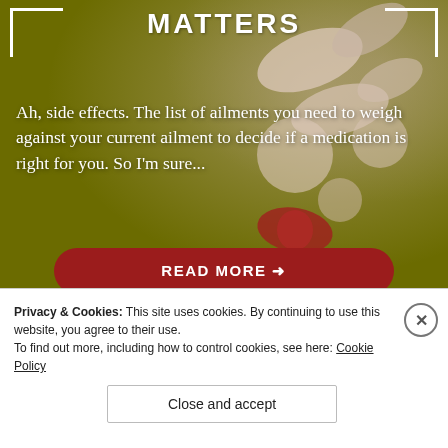MATTERS
Ah, side effects. The list of ailments you need to weigh against your current ailment to decide if a medication is right for you. So I'm sure...
READ MORE →
Privacy & Cookies: This site uses cookies. By continuing to use this website, you agree to their use.
To find out more, including how to control cookies, see here: Cookie Policy
Close and accept